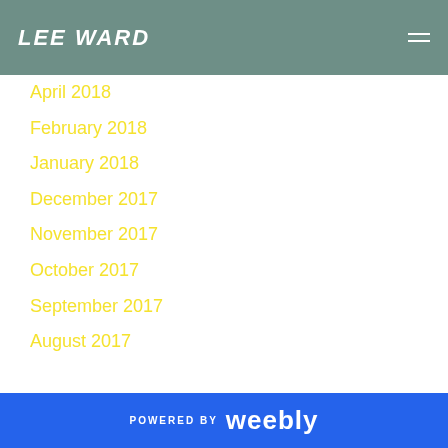LEE WARD
April 2018
February 2018
January 2018
December 2017
November 2017
October 2017
September 2017
August 2017
CATEGORIES
All
POWERED BY weebly